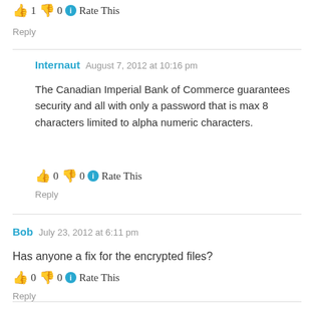👍 1 👎 0 ℹ Rate This
Reply
Internaut  August 7, 2012 at 10:16 pm
The Canadian Imperial Bank of Commerce guarantees security and all with only a password that is max 8 characters limited to alpha numeric characters.
👍 0 👎 0 ℹ Rate This
Reply
Bob  July 23, 2012 at 6:11 pm
Has anyone a fix for the encrypted files?
👍 0 👎 0 ℹ Rate This
Reply